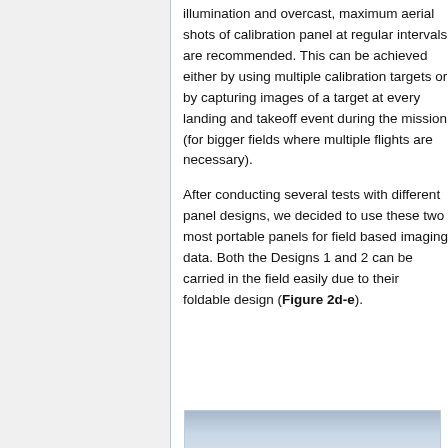illumination and overcast, maximum aerial shots of calibration panel at regular intervals are recommended. This can be achieved either by using multiple calibration targets or by capturing images of a target at every landing and takeoff event during the mission (for bigger fields where multiple flights are necessary).
After conducting several tests with different panel designs, we decided to use these two most portable panels for field based imaging data. Both the Designs 1 and 2 can be carried in the field easily due to their foldable design (Figure 2d-e).
[Figure (photo): Bottom portion of a photo showing field calibration panels, partially visible at the bottom of the page.]